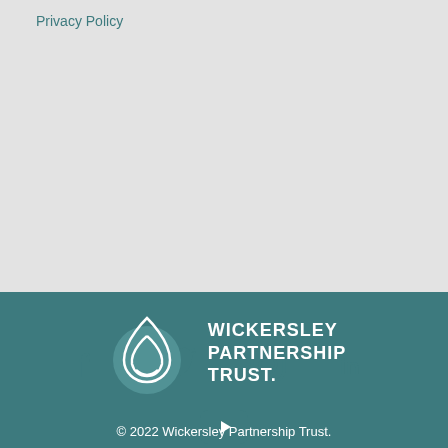Privacy Policy
[Figure (infographic): Social media icons: Facebook, Twitter, Instagram, LinkedIn, YouTube on a light grey background]
[Figure (logo): Wickersley Partnership Trust logo with teal droplet/leaf icon and white text on teal background]
© 2022 Wickersley Partnership Trust.